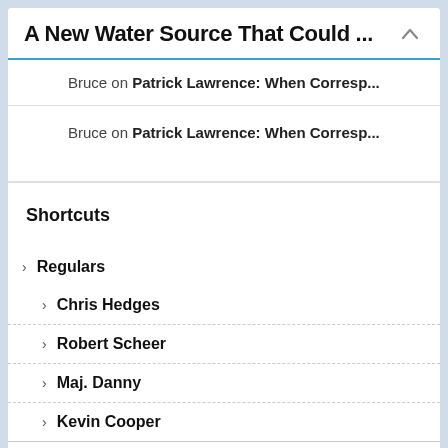A New Water Source That Could ...
Bruce on Patrick Lawrence: When Corresp...
Bruce on Patrick Lawrence: When Corresp...
Shortcuts
> Regulars
> Chris Hedges
> Robert Scheer
> Maj. Danny
> Kevin Cooper
> Ellen Brown